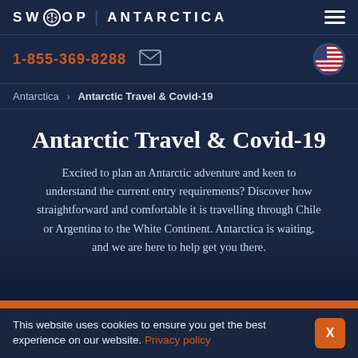SWOOP | ANTARCTICA
1-855-369-8288
Antarctica > Antarctic Travel & Covid-19
Antarctic Travel & Covid-19
Excited to plan an Antarctic adventure and keen to understand the current entry requirements? Discover how straightforward and comfortable it is travelling through Chile or Argentina to the White Continent. Antarctica is waiting, and we are here to help get you there.
This website uses cookies to ensure you get the best experience on our website. Privacy policy